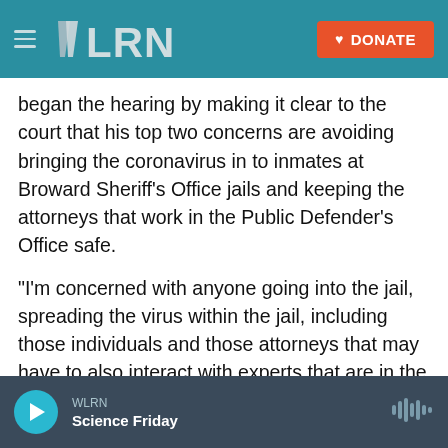WLRN — DONATE
began the hearing by making it clear to the court that his top two concerns are avoiding bringing the coronavirus in to inmates at Broward Sheriff's Office jails and keeping the attorneys that work in the Public Defender's Office safe.
"I'm concerned with anyone going into the jail, spreading the virus within the jail, including those individuals and those attorneys that may have to also interact with experts that are in the jail," Weekes said.
Assistant Public Defender Melisa McNeill has been
WLRN — Science Friday